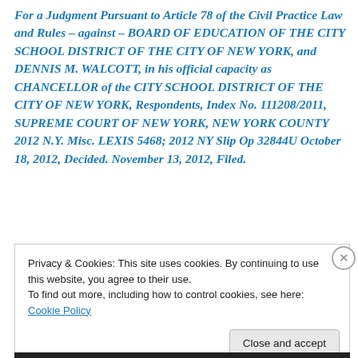For a Judgment Pursuant to Article 78 of the Civil Practice Law and Rules – against – BOARD OF EDUCATION OF THE CITY SCHOOL DISTRICT OF THE CITY OF NEW YORK, and DENNIS M. WALCOTT, in his official capacity as CHANCELLOR of the CITY SCHOOL DISTRICT OF THE CITY OF NEW YORK, Respondents, Index No. 111208/2011, SUPREME COURT OF NEW YORK, NEW YORK COUNTY 2012 N.Y. Misc. LEXIS 5468; 2012 NY Slip Op 32844U October 18, 2012, Decided. November 13, 2012, Filed.
Privacy & Cookies: This site uses cookies. By continuing to use this website, you agree to their use.
To find out more, including how to control cookies, see here: Cookie Policy